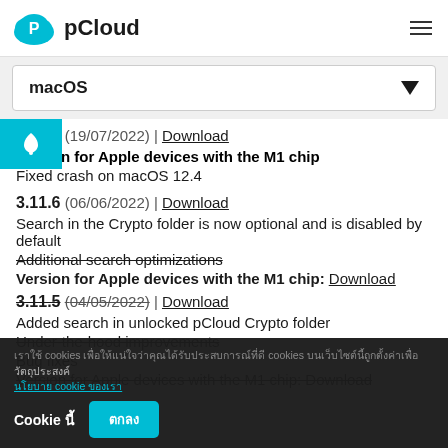pCloud
macOS
3.11.7 (19/07/2022) | Download
Version for Apple devices with the M1 chip
Fixed crash on macOS 12.4
3.11.6 (06/06/2022) | Download
Search in the Crypto folder is now optional and is disabled by default
Additional search optimizations
Version for Apple devices with the M1 chip: Download
3.11.5 (04/05/2022) | Download
Added search in unlocked pCloud Crypto folder
Under-the-hood improvements
Bug fixes
Version for Apple devices with the M1 chip: Download
Cookie notice - cookies text in Thai language, cookie link